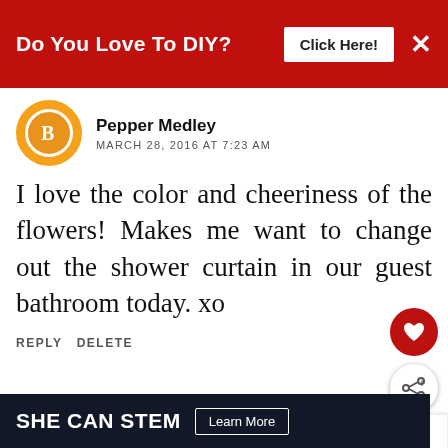[Figure (screenshot): Red advertisement banner with text 'Do You Love To DIY?' and a 'Click Here!' button and an X close button]
Pepper Medley
MARCH 28, 2016 AT 7:23 AM
I love the color and cheeriness of the flowers! Makes me want to change out the shower curtain in our guest bathroom today. xo
REPLY DELETE
REPLIES
Kim
MARCH 28, 2016 AT 9:38 PM
[Figure (infographic): What's Next panel with small thumbnail image and text 'Totally Transformed...']
[Figure (screenshot): Bottom advertisement banner with text 'SHE CAN STEM' and 'Learn More' button]